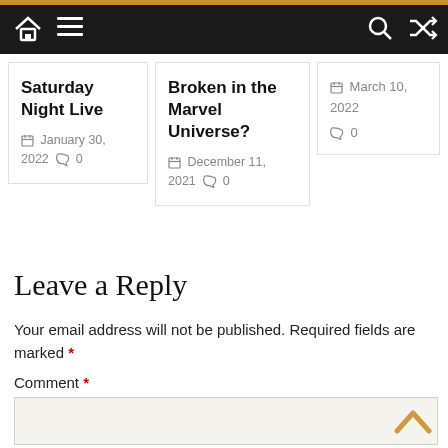Navigation bar with home icon, menu icon, search icon, shuffle icon
Saturday Night Live
January 30, 2022  0
Broken in the Marvel Universe?
December 11, 2021  0
March 10, 2022  0
Leave a Reply
Your email address will not be published. Required fields are marked *
Comment *